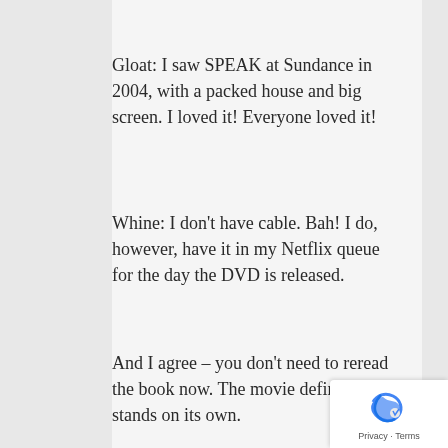Gloat: I saw SPEAK at Sundance in 2004, with a packed house and big screen. I loved it! Everyone loved it!
Whine: I don't have cable. Bah! I do, however, have it in my Netflix queue for the day the DVD is released.
And I agree – you don't need to reread the book now. The movie definitely stands on its own.